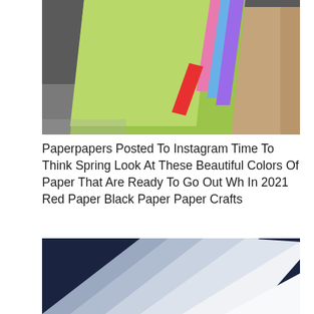[Figure (photo): Stacked sheets of colorful paper (green, pink, blue, purple, red) fanned out alongside brown kraft paper, photographed on a dark surface.]
Paperpapers Posted To Instagram Time To Think Spring Look At These Beautiful Colors Of Paper That Are Ready To Go Out Wh In 2021 Red Paper Black Paper Paper Crafts
[Figure (photo): Several sheets of translucent or white paper fanned out on a dark navy background, showing gradations from gray-blue to bright white.]